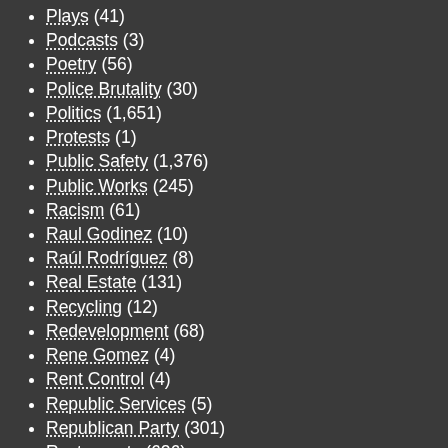Plays (41)
Podcasts (3)
Poetry (56)
Police Brutality (30)
Politics (1,651)
Protests (1)
Public Safety (1,376)
Public Works (245)
Racism (61)
Raul Godinez (10)
Raúl Rodríguez (8)
Real Estate (131)
Recycling (12)
Redevelopment (68)
Rene Gomez (4)
Rent Control (4)
Republic Services (5)
Republican Party (301)
Restaurants (626)
Restorative Justice (1)
Reyna Orozco (1)
Rick Miller (14)
Rigo Rodriguez (16)